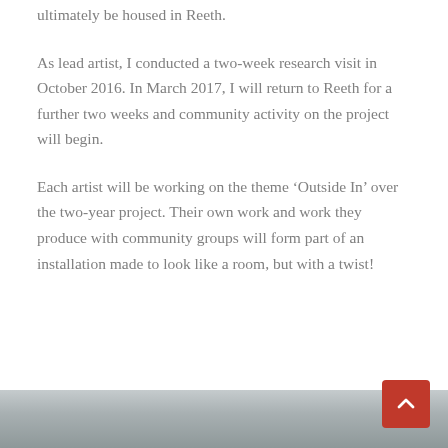ultimately be housed in Reeth.
As lead artist, I conducted a two-week research visit in October 2016. In March 2017, I will return to Reeth for a further two weeks and community activity on the project will begin.
Each artist will be working on the theme ‘Outside In’ over the two-year project. Their own work and work they produce with community groups will form part of an installation made to look like a room, but with a twist!
[Figure (photo): Bottom portion of a photograph showing what appears to be a weathered or painted wooden surface with muted grey-blue tones.]